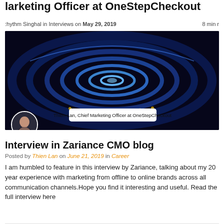larketing Officer at OneStepCheckout
hythm Singhal in Interviews on May 29, 2019   8 min r
[Figure (photo): Dark glowing circular tunnel/portal image with text overlay caption: Thien-Lan, Chief Marketing Officer at OneStepCheckout, and a circular avatar portrait photo in the lower left corner]
Interview in Zariance CMO blog
Posted by Thien Lan on June 21, 2019 in Career
I am humbled to feature in this interview by Zariance, talking about my 20 year experience with marketing from offline to online brands across all communication channels.Hope you find it interesting and useful. Read the full interview here